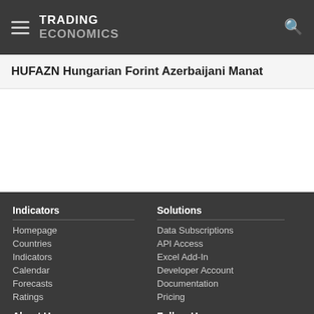TRADING ECONOMICS
HUFAZN Hungarian Forint Azerbaijani Manat
Indicators
Homepage
Countries
Indicators
Calendar
Forecasts
Ratings
Solutions
Data Subscriptions
API Access
Excel Add-In
Developer Account
Documentation
Pricing
About Us
Customers
Careers
Investors
Follow Us
Twitter
App Store
RSS